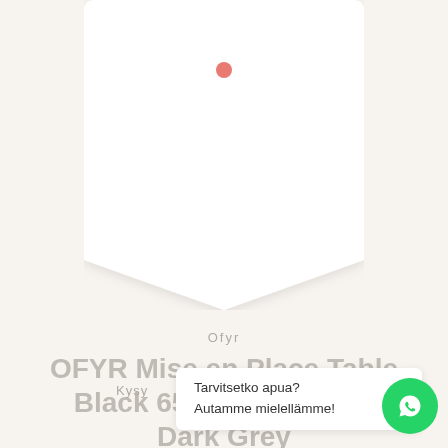[Figure (illustration): Product tag/label shape with a small red dot near the top, on a warm off-white background]
Ofyr
OFYR Mise en Place Table Black 65 PRO Ceramic Dark Grey
Kysy
Tarvitsetko apua?
Autamme mielellämme!
[Figure (logo): WhatsApp logo in white on green circle button]